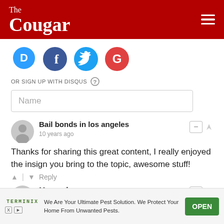The Cougar
[Figure (other): Social login icons: Disqus (D), Facebook (f), Twitter bird, Google (G)]
OR SIGN UP WITH DISQUS
Name
Bail bonds in los angeles
10 years ago
Thanks for sharing this great content, I really enjoyed the insign you bring to the topic, awesome stuff!
Reply
Mongrel
10 years ago
[Figure (other): Advertisement banner: Terminix pest control ad with OPEN button. Text: We Are Your Ultimate Pest Solution. We Protect Your Home From Unwanted Pests.]